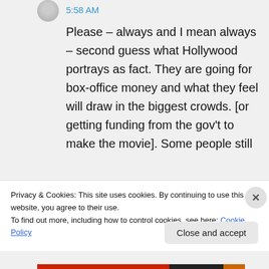5:58 AM
Please – always and I mean always – second guess what Hollywood portrays as fact. They are going for box-office money and what they feel will draw in the biggest crowds. [or getting funding from the gov't to make the movie]. Some people still
Privacy & Cookies: This site uses cookies. By continuing to use this website, you agree to their use.
To find out more, including how to control cookies, see here: Cookie Policy
Close and accept